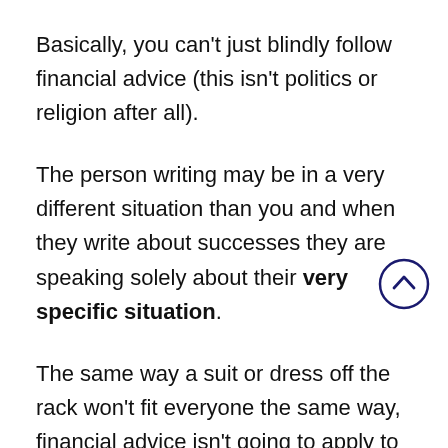Basically, you can't just blindly follow financial advice (this isn't politics or religion after all).
The person writing may be in a very different situation than you and when they write about successes they are speaking solely about their very specific situation.
The same way a suit or dress off the rack won't fit everyone the same way, financial advice isn't going to apply to everyone who reads it.